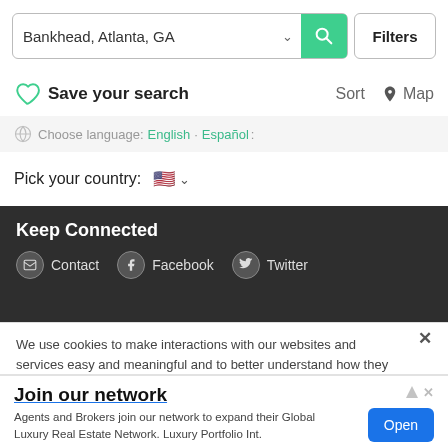Bankhead, Atlanta, GA — Search bar with Filters button
Save your search   Sort   Map
Choose language: English   Español
Pick your country: 🇺🇸
Keep Connected
Contact   Facebook   Twitter
We use cookies to make interactions with our websites and services easy and meaningful and to better understand how they are used. You can find out more about which cookies we are using and update your preferences in Cookies Settings. clicking "Accept All Cookies," you are agreeing to our use
Join our network
Agents and Brokers join our network to expand their Global Luxury Real Estate Network. Luxury Portfolio Int.